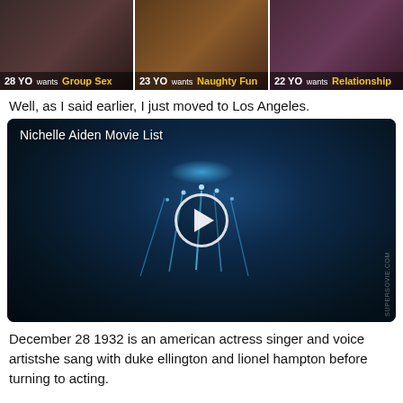[Figure (photo): Advertisement banner with three panels showing ages and desires: 28 YO wants Group Sex, 23 YO wants Naughty Fun, 22 YO wants Relationship]
Well, as I said earlier, I just moved to Los Angeles.
[Figure (screenshot): Video player thumbnail showing dark underwater scene with blue light streaks. Title reads 'Nichelle Aiden Movie List' with a play button in the center.]
December 28 1932 is an american actress singer and voice artistshe sang with duke ellington and lionel hampton before turning to acting.